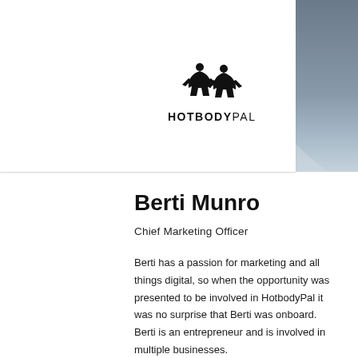[Figure (logo): HotBodyPal logo with two fitness figures silhouette above the text HOTBODYPAL]
Berti Munro
Chief Marketing Officer
Berti has a passion for marketing and all things digital, so when the opportunity was presented to be involved in HotbodyPal it was no surprise that Berti was onboard. Berti is an entrepreneur and is involved in multiple businesses.